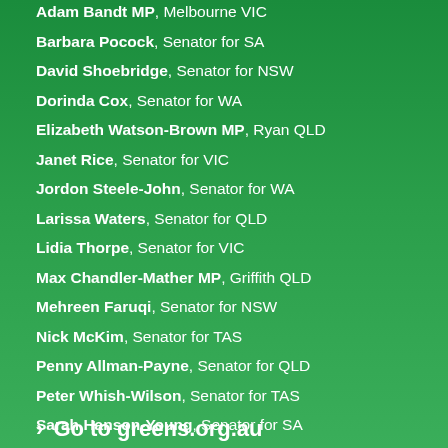Adam Bandt MP, Melbourne VIC
Barbara Pocock, Senator for SA
David Shoebridge, Senator for NSW
Dorinda Cox, Senator for WA
Elizabeth Watson-Brown MP, Ryan QLD
Janet Rice, Senator for VIC
Jordon Steele-John, Senator for WA
Larissa Waters, Senator for QLD
Lidia Thorpe, Senator for VIC
Max Chandler-Mather MP, Griffith QLD
Mehreen Faruqi, Senator for NSW
Nick McKim, Senator for TAS
Penny Allman-Payne, Senator for QLD
Peter Whish-Wilson, Senator for TAS
Sarah Hanson-Young, Senator for SA
Stephen Bates MP, Brisbane QLD
> Go to greens.org.au